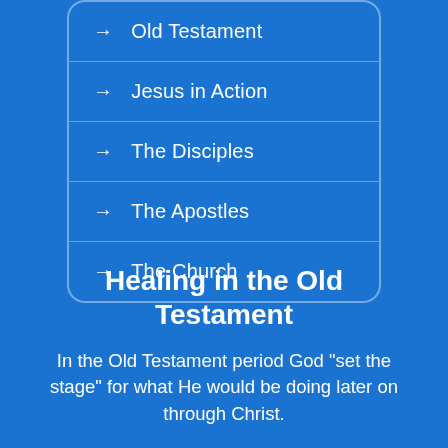Old Testament
Jesus in Action
The Disciples
The Apostles
The Church
Healing in the Old Testament
In the Old Testament period God "set the stage" for what He would be doing later on through Christ.